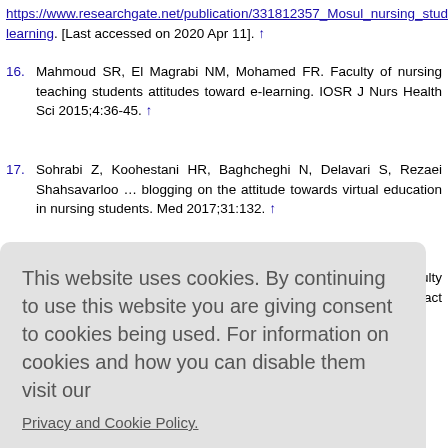https://www.researchgate.net/publication/331812357_Mosul_nursing_students_learning. [Last accessed on 2020 Apr 11]. ↑
16. Mahmoud SR, El Magrabi NM, Mohamed FR. Faculty of nursing teaching students attitudes toward e-learning. IOSR J Nurs Health Sci 2015;4:36-45. ↑
17. Sohrabi Z, Koohestani HR, Baghcheghi N, Delavari S, Rezaei Shahsavarloo ... blogging on the attitude towards virtual education in nursing students. Me... 2017;31:132. ↑
18. Frazer C, Sullivan DH, Weatherspoon D, Hussey L. Faculty perception... effectiveness and indicators of quality. Nurs Res Pract 2017;2017:9374189. ↑
This website uses cookies. By continuing to use this website you are giving consent to cookies being used. For information on cookies and how you can disable them visit our Privacy and Cookie Policy.
AGREE & PROCEED